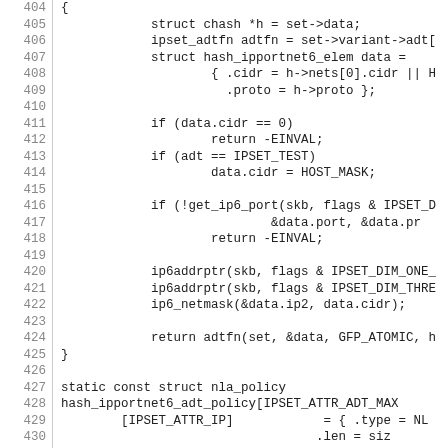[Figure (screenshot): Source code listing showing C code for hash_ipportnet6 functions, lines 404-433, with line numbers on the left and code on the right.]